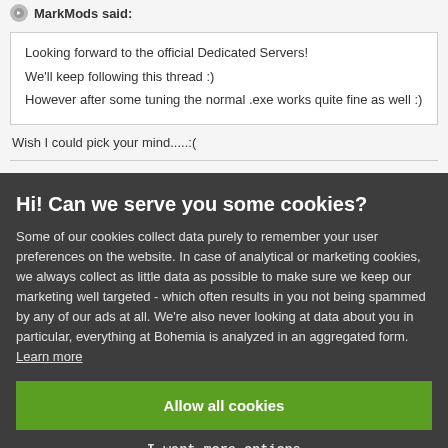MarkMods said:
Looking forward to the official Dedicated Servers!
We'll keep following this thread :)
However after some tuning the normal .exe works quite fine as well :)
Wish I could pick your mind.....:(
Hi! Can we serve you some cookies?
Some of our cookies collect data purely to remember your user preferences on the website. In case of analytical or marketing cookies, we always collect as little data as possible to make sure we keep our marketing well targeted - which often results in you not being spammed by any of our ads at all. We're also never looking at data about you in particular, everything at Bohemia is analyzed in an aggregated form. Learn more
Allow all cookies
I want more options